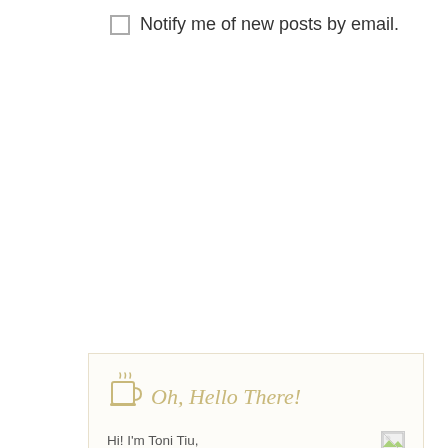Notify me of new posts by email.
[Figure (illustration): Coffee mug icon with steam, golden/tan color, used as blog section header decoration]
Oh, Hello There!
Hi! I'm Toni Tiu, and I've been blogging at at Wifely Steps since 2003. This started as a blog to help newly weds adjust to married life. It has evolved into a home and parenting blog. I write about things close to my heart -- good eats, good reads, family, marriage, and the little things that make everyday happy.
ABOUT | MANIFESTO | CONTACT